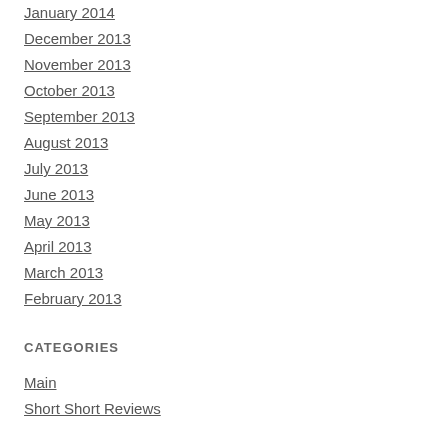January 2014
December 2013
November 2013
October 2013
September 2013
August 2013
July 2013
June 2013
May 2013
April 2013
March 2013
February 2013
CATEGORIES
Main
Short Short Reviews